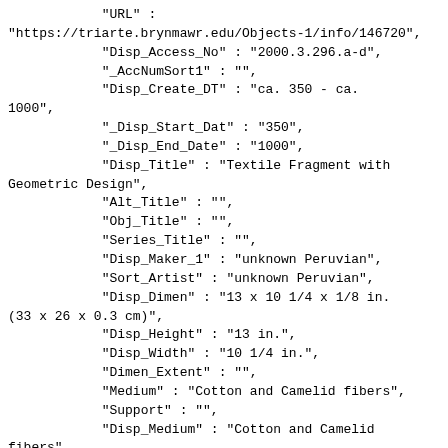"URL" :
"https://triarte.brynmawr.edu/Objects-1/info/146720",
            "Disp_Access_No" : "2000.3.296.a-d",
            "_AccNumSort1" : "",
            "Disp_Create_DT" : "ca. 350 - ca.
1000",
            "_Disp_Start_Dat" : "350",
            "_Disp_End_Date" : "1000",
            "Disp_Title" : "Textile Fragment with
Geometric Design",
            "Alt_Title" : "",
            "Obj_Title" : "",
            "Series_Title" : "",
            "Disp_Maker_1" : "unknown Peruvian",
            "Sort_Artist" : "unknown Peruvian",
            "Disp_Dimen" : "13 x 10 1/4 x 1/8 in.
(33 x 26 x 0.3 cm)",
            "Disp_Height" : "13 in.",
            "Disp_Width" : "10 1/4 in.",
            "Dimen_Extent" : "",
            "Medium" : "Cotton and Camelid fibers",
            "Support" : "",
            "Disp_Medium" : "Cotton and Camelid
fibers",
            "Info_Page_Comm" : "a: 21 x 12 in
b: 22 x 16 in
c: 23 x 8 in
d: 23 x 15 in
all approx. due to fragile nature